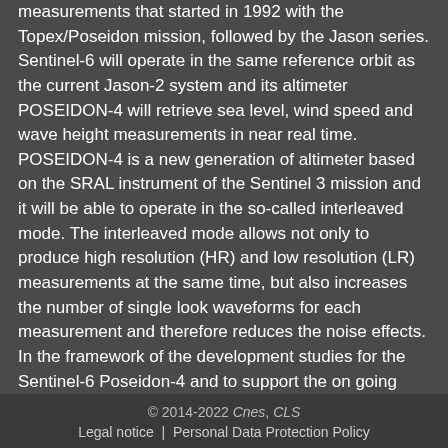measurements that started in 1992 with the Topex/Poseidon mission, followed by the Jason series. Sentinel-6 will operate in the same reference orbit as the current Jason-2 system and its altimeter POSEIDON-4 will retrieve sea level, wind speed and wave height measurements in near real time. POSEIDON-4 is a new generation of altimeter based on the SRAL instrument of the Sentinel 3 mission and it will be able to operate in the so-called interleaved mode. The interleaved mode allows not only to produce high resolution (HR) and low resolution (LR) measurements at the same time, but also increases the number of single look waveforms for each measurement and therefore reduces the noise effects. In the framework of the development studies for the Sentinel-6 Poseidon-4 and to support the on going performance analysis of the mission, a level 1B (L1B) simulator has been developed with the main objective to provide L1B data sets over periods longer than an orbit. The flexible design of the simulator also allows assisting with studies into concepts for other possible future radar altimeter missions. This post...the simulator as well as the first simulated data sets and a preliminary
© 2014-2022 Cnes, CLS
Legal notice | Personal Data Protection Policy